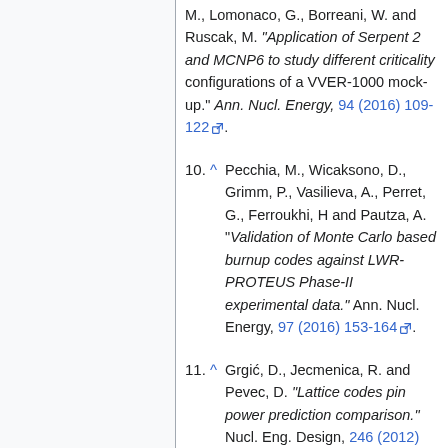M., Lomonaco, G., Borreani, W. and Ruscak, M. "Application of Serpent 2 and MCNP6 to study different criticality configurations of a VVER-1000 mock-up." Ann. Nucl. Energy, 94 (2016) 109-122.
10. ^ Pecchia, M., Wicaksono, D., Grimm, P., Vasilieva, A., Perret, G., Ferroukhi, H and Pautza, A. "Validation of Monte Carlo based burnup codes against LWR-PROTEUS Phase-II experimental data." Ann. Nucl. Energy, 97 (2016) 153-164.
11. ^ Grgić, D., Jecmenica, R. and Pevec, D. "Lattice codes pin power prediction comparison." Nucl. Eng. Design, 246 (2012) 27-40.